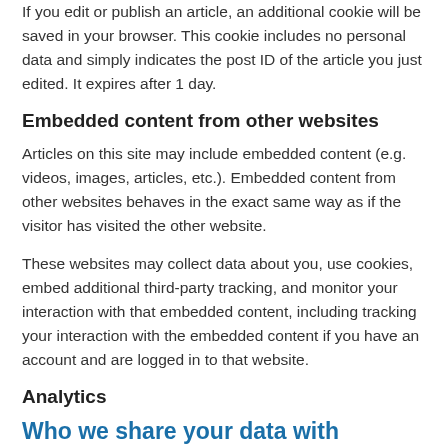If you edit or publish an article, an additional cookie will be saved in your browser. This cookie includes no personal data and simply indicates the post ID of the article you just edited. It expires after 1 day.
Embedded content from other websites
Articles on this site may include embedded content (e.g. videos, images, articles, etc.). Embedded content from other websites behaves in the exact same way as if the visitor has visited the other website.
These websites may collect data about you, use cookies, embed additional third-party tracking, and monitor your interaction with that embedded content, including tracking your interaction with the embedded content if you have an account and are logged in to that website.
Analytics
Who we share your data with